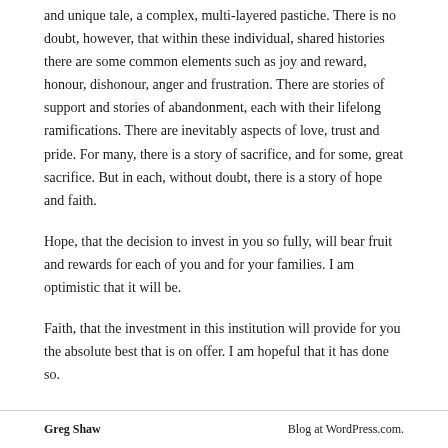and unique tale, a complex, multi-layered pastiche. There is no doubt, however, that within these individual, shared histories there are some common elements such as joy and reward, honour, dishonour, anger and frustration. There are stories of support and stories of abandonment, each with their lifelong ramifications. There are inevitably aspects of love, trust and pride. For many, there is a story of sacrifice, and for some, great sacrifice. But in each, without doubt, there is a story of hope and faith.
Hope, that the decision to invest in you so fully, will bear fruit and rewards for each of you and for your families. I am optimistic that it will be.
Faith, that the investment in this institution will provide for you the absolute best that is on offer. I am hopeful that it has done so.
Greg Shaw   Blog at WordPress.com.